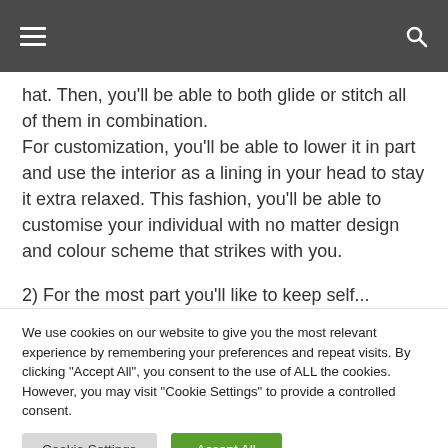[Navigation bar with hamburger menu and search icon]
hat. Then, you'll be able to both glide or stitch all of them in combination.
For customization, you'll be able to lower it in part and use the interior as a lining in your head to stay it extra relaxed. This fashion, you'll be able to customise your individual with no matter design and colour scheme that strikes with you.
2) For the ...
We use cookies on our website to give you the most relevant experience by remembering your preferences and repeat visits. By clicking "Accept All", you consent to the use of ALL the cookies. However, you may visit "Cookie Settings" to provide a controlled consent.